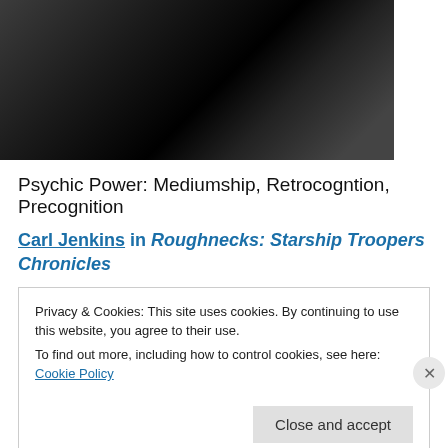[Figure (photo): Dark photograph, mostly black with some dark grey tones, appears to be a helmet or dark object against a dark background]
Psychic Power: Mediumship, Retrocogntion, Precognition
Carl Jenkins in Roughnecks: Starship Troopers Chronicles
Privacy & Cookies: This site uses cookies. By continuing to use this website, you agree to their use.
To find out more, including how to control cookies, see here: Cookie Policy
Close and accept